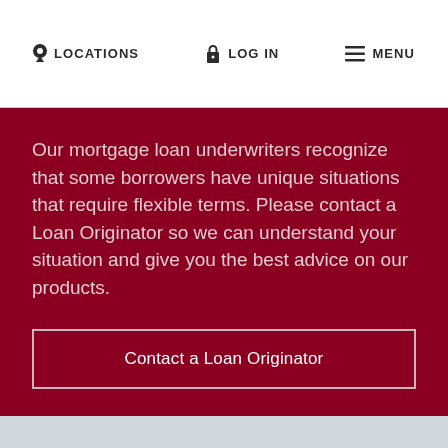LOCATIONS   LOG IN   MENU
Our mortgage loan underwriters recognize that some borrowers have unique situations that require flexible terms. Please contact a Loan Originator so we can understand your situation and give you the best advice on our products.
Contact a Loan Originator